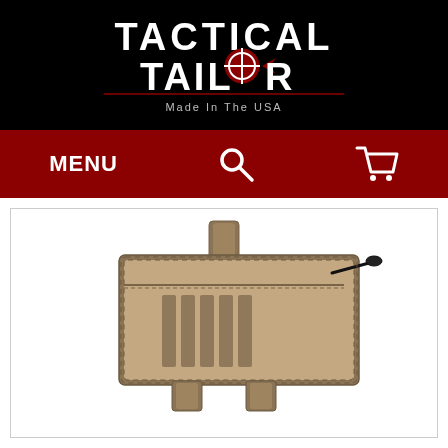[Figure (logo): Tactical Tailor logo - white text on black background with crosshair in the word TAILOR, tagline 'Made In The USA']
MENU
[Figure (photo): RRPS Slim Organizer - tan/coyote colored tactical organizer pouch with MOLLE straps on bottom and a zipper pull, shown open from the front]
RRPS Slim Organizer
Your Price: $33.50